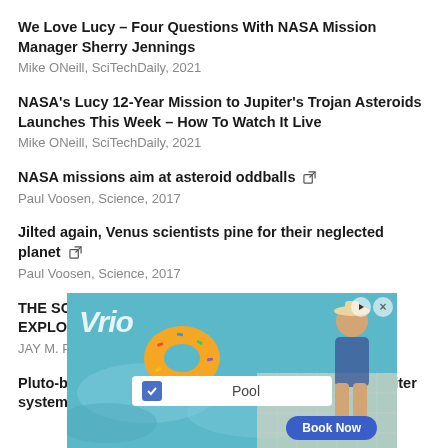We Love Lucy – Four Questions With NASA Mission Manager Sherry Jennings
Mike ONeill, SciTechDaily, 2021
NASA's Lucy 12-Year Mission to Jupiter's Trojan Asteroids Launches This Week – How To Watch It Live
Mike ONeill, SciTechDaily, 2021
NASA missions aim at asteroid oddballs [external link]
Paul Voosen, Science, 2017
Jilted again, Venus scientists pine for their neglected planet [external link]
Paul Voosen, Science, 2017
THE SOLAR SYSTEM IN THE AGE OF SPACE EXPLORATION [external link]
JAY M. PASACHOFF, World Scientific Book
Pluto-bound "New Horizons" provides new look at Jupiter system [external link]
[Figure (photo): Advertisement banner showing a swimming pool scene with a donut float and a person sitting by the pool, with text 'Pool' and a 'Book Now' button.]